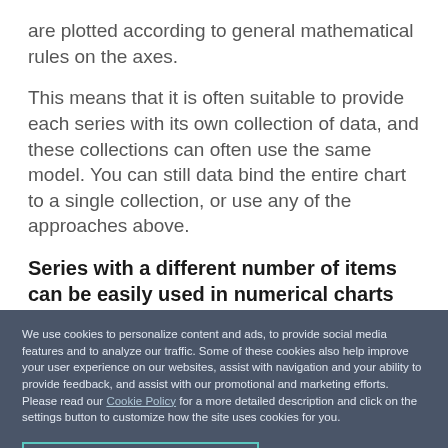are plotted according to general mathematical rules on the axes.
This means that it is often suitable to provide each series with its own collection of data, and these collections can often use the same model. You can still data bind the entire chart to a single collection, or use any of the approaches above.
Series with a different number of items can be easily used in numerical charts
We use cookies to personalize content and ads, to provide social media features and to analyze our traffic. Some of these cookies also help improve your user experience on our websites, assist with navigation and your ability to provide feedback, and assist with our promotional and marketing efforts. Please read our Cookie Policy for a more detailed description and click on the settings button to customize how the site uses cookies for you.
ACCEPT COOKIES
COOKIES SETTINGS